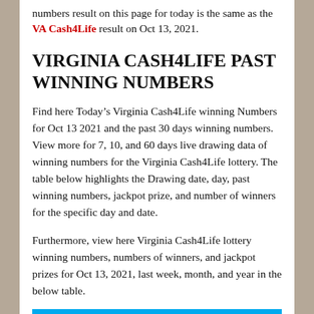numbers result on this page for today is the same as the VA Cash4Life result on Oct 13, 2021.
VIRGINIA CASH4LIFE PAST WINNING NUMBERS
Find here Today’s Virginia Cash4Life winning Numbers for Oct 13 2021 and the past 30 days winning numbers. View more for 7, 10, and 60 days live drawing data of winning numbers for the Virginia Cash4Life lottery. The table below highlights the Drawing date, day, past winning numbers, jackpot prize, and number of winners for the specific day and date.
Furthermore, view here Virginia Cash4Life lottery winning numbers, numbers of winners, and jackpot prizes for Oct 13, 2021, last week, month, and year in the below table.
| Drawing | Lottery | Past | Cash |
| --- | --- | --- | --- |